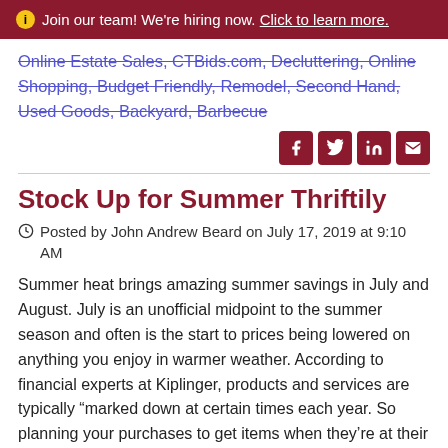Join our team! We're hiring now. Click to learn more.
Online Estate Sales, CTBids.com, Decluttering, Online Shopping, Budget Friendly, Remodel, Second Hand, Used Goods, Backyard, Barbecue
Stock Up for Summer Thriftily
Posted by John Andrew Beard on July 17, 2019 at 9:10 AM
Summer heat brings amazing summer savings in July and August. July is an unofficial midpoint to the summer season and often is the start to prices being lowered on anything you enjoy in warmer weather. According to financial experts at Kiplinger, products and services are typically “marked down at certain times each year. So planning your purchases to get items when they’re at their lowest price can potentially save you hundreds of dollars.”